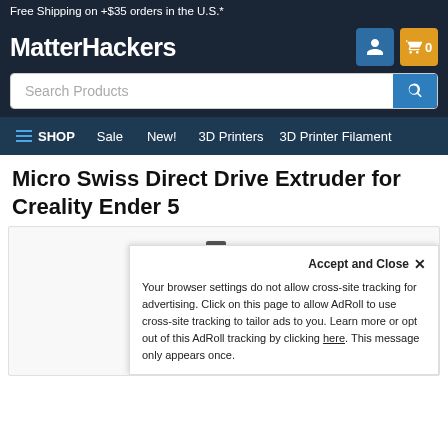Free Shipping on +$35 orders in the U.S.*
[Figure (logo): MatterHackers logo with user icon and cart button showing 0 items]
[Figure (screenshot): Search bar with placeholder text 'Search Products' and blue search button]
SHOP  Sale  New!  3D Printers  3D Printer Filament
Micro Swiss Direct Drive Extruder for Creality Ender 5
[Figure (photo): Product photo of the Micro Swiss Direct Drive Extruder for Creality Ender 5 - mechanical metal extruder component shown on white/grey background]
Accept and Close ×
Your browser settings do not allow cross-site tracking for advertising. Click on this page to allow AdRoll to use cross-site tracking to tailor ads to you. Learn more or opt out of this AdRoll tracking by clicking here. This message only appears once.